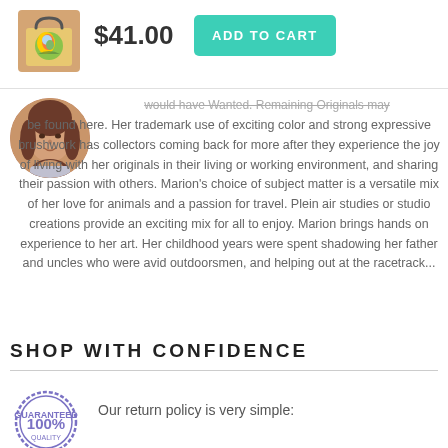[Figure (photo): Product thumbnail: tote bag with colorful painting]
$41.00
ADD TO CART
[Figure (photo): Circular profile photo of a woman with brown hair]
would have Wanted. Remaining Originals may be found here. Her trademark use of exciting color and strong expressive brushwork has collectors coming back for more after they experience the joy of living with her originals in their living or working environment, and sharing their passion with others. Marion's choice of subject matter is a versatile mix of her love for animals and a passion for travel. Plein air studies or studio creations provide an exciting mix for all to enjoy. Marion brings hands on experience to her art. Her childhood years were spent shadowing her father and uncles who were avid outdoorsmen, and helping out at the racetrack...
SHOP WITH CONFIDENCE
Our return policy is very simple:
[Figure (illustration): 100% quality guarantee stamp circle]